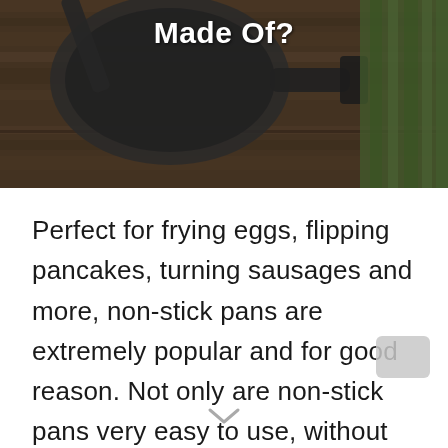[Figure (photo): Hero banner photo showing a dark non-stick frying pan with a spatula on a wooden surface, with green celery stalks in the top right corner. A semi-transparent dark overlay covers the image. Bold white text reads 'Made Of?' centered near the top.]
Perfect for frying eggs, flipping pancakes, turning sausages and more, non-stick pans are extremely popular and for good reason. Not only are non-stick pans very easy to use, without food sticking to the surface...